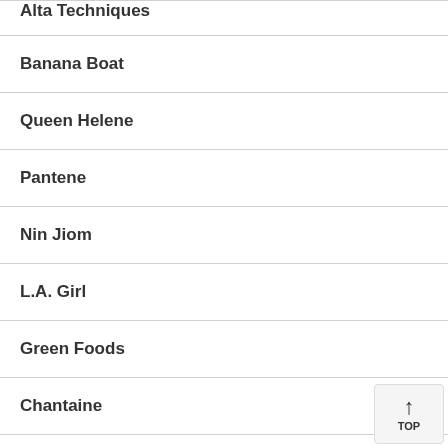Alta Techniques
Banana Boat
Queen Helene
Pantene
Nin Jiom
L.A. Girl
Green Foods
Chantaine